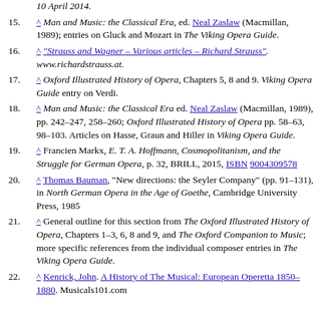10 April 2014.
15. ^ Man and Music: the Classical Era, ed. Neal Zaslaw (Macmillan, 1989); entries on Gluck and Mozart in The Viking Opera Guide.
16. ^ "Strauss and Wagner – Various articles – Richard Strauss". www.richardstrauss.at.
17. ^ Oxford Illustrated History of Opera, Chapters 5, 8 and 9. Viking Opera Guide entry on Verdi.
18. ^ Man and Music: the Classical Era ed. Neal Zaslaw (Macmillan, 1989), pp. 242–247, 258–260; Oxford Illustrated History of Opera pp. 58–63, 98–103. Articles on Hasse, Graun and Hiller in Viking Opera Guide.
19. ^ Francien Markx, E. T. A. Hoffmann, Cosmopolitanism, and the Struggle for German Opera, p. 32, BRILL, 2015, ISBN 9004309578
20. ^ Thomas Bauman, "New directions: the Seyler Company" (pp. 91–131), in North German Opera in the Age of Goethe, Cambridge University Press, 1985
21. ^ General outline for this section from The Oxford Illustrated History of Opera, Chapters 1–3, 6, 8 and 9, and The Oxford Companion to Music; more specific references from the individual composer entries in The Viking Opera Guide.
22. ^ Kenrick, John. A History of The Musical: European Operetta 1850–1880. Musicals101.com